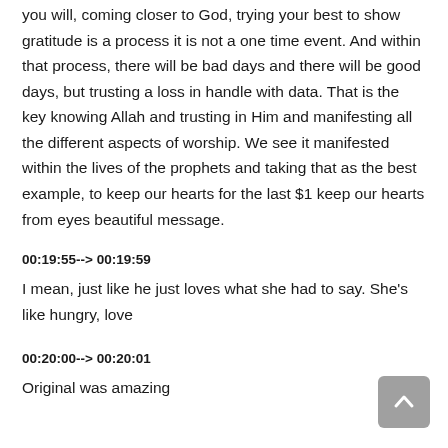you will, coming closer to God, trying your best to show gratitude is a process it is not a one time event. And within that process, there will be bad days and there will be good days, but trusting a loss in handle with data. That is the key knowing Allah and trusting in Him and manifesting all the different aspects of worship. We see it manifested within the lives of the prophets and taking that as the best example, to keep our hearts for the last $1 keep our hearts from eyes beautiful message.
00:19:55--> 00:19:59
I mean, just like he just loves what she had to say. She's like hungry, love
00:20:00--> 00:20:01
Original was amazing